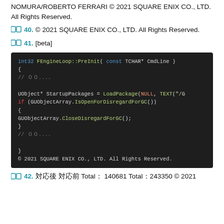NOMURA/ROBERTO FERRARI © 2021 SQUARE ENIX CO., LTD. All Rights Reserved.
40. © 2021 SQUARE ENIX CO., LTD. All Rights Reserved.
41. [beta]
[Figure (screenshot): Code block on dark background showing C++ code: int32 FEngineLoop::PreInit( const TCHAR* CmdLine ) { // ...

UObject* StartupPackages = LoadPackage(NULL, TEXT("/
if (GUObjectArray.IsOpenForDisregardForGC())
{
GUObjectArray.CloseDisregardForGC();
}
// ...

}
© 2021 SQUARE ENIX CO., LTD. All Rights Reserved.]
42. 対応後 対応前 Total： 140681 Total：243350 © 2021